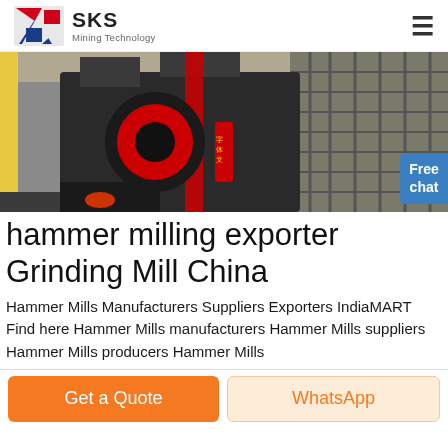SKS Mining Technology
[Figure (photo): Industrial hammer mill / grinding mill equipment photographed inside a factory or warehouse setting. Heavy machinery with red and black components visible.]
hammer milling exporter Grinding Mill China
Hammer Mills Manufacturers Suppliers Exporters IndiaMART Find here Hammer Mills manufacturers Hammer Mills suppliers Hammer Mills producers Hammer Mills
Get a Quote | WhatsApp